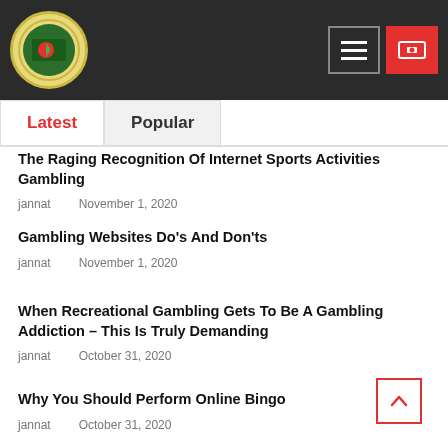[Figure (logo): Circular logo with flag emblem on dark header, with hamburger menu button and red money/dollar button]
Latest	Popular
The Raging Recognition Of Internet Sports Activities Gambling — jannat, November 1, 2020
Gambling Websites Do's And Don'ts — jannat, November 1, 2020
When Recreational Gambling Gets To Be A Gambling Addiction – This Is Truly Demanding — jannat, October 31, 2020
Why You Should Perform Online Bingo — jannat, October 31, 2020